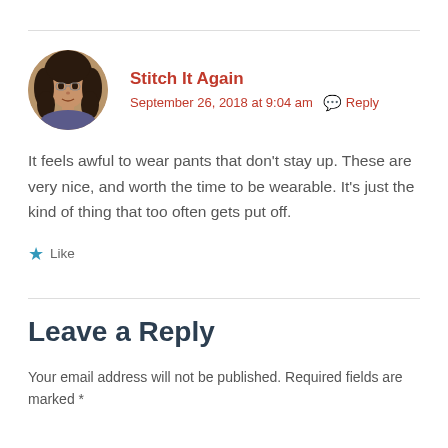[Figure (photo): Circular avatar photo of a woman with dark curly hair]
Stitch It Again
September 26, 2018 at 9:04 am  Reply
It feels awful to wear pants that don't stay up. These are very nice, and worth the time to be wearable. It's just the kind of thing that too often gets put off.
Like
Leave a Reply
Your email address will not be published. Required fields are marked *